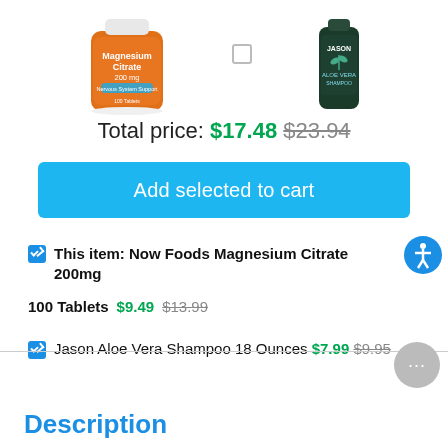[Figure (photo): Product images: Now Foods Magnesium Citrate 200mg bottle (orange label) and Jason Aloe Vera Shampoo bottle (dark green)]
Total price: $17.48 $23.94
Add selected to cart
This item: Now Foods Magnesium Citrate 200mg
100 Tablets $9.49 $13.99
Jason Aloe Vera Shampoo 18 Ounces $7.99 $9.95
Description